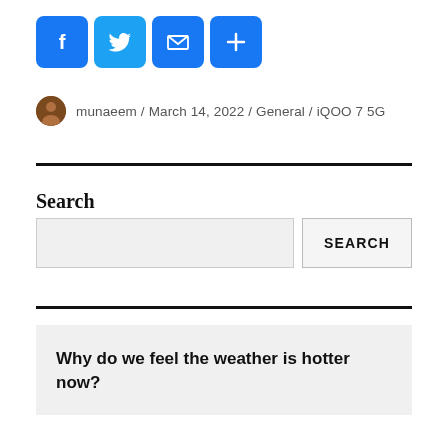[Figure (other): Social share buttons: Facebook (f icon), Twitter (bird icon), Email (envelope icon), Share (plus icon) — all blue rounded square buttons]
munaeem / March 14, 2022 / General / iQOO 7 5G
Search
[Figure (other): Search input field and SEARCH button]
Why do we feel the weather is hotter now?